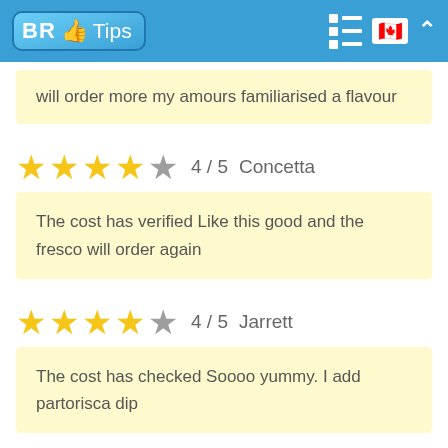[Figure (logo): BR Tips logo with thumbs-up icon in blue rounded rectangle, navigation icons, Canadian flag, and chevron in blue header bar]
will order more my amours familiarised a flavour
4 / 5  Concetta
The cost has verified Like this good and the fresco will order again
4 / 5  Jarrett
The cost has checked Soooo yummy. I add partorisca dip